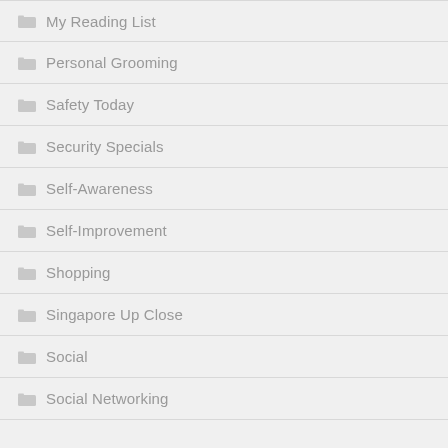My Reading List
Personal Grooming
Safety Today
Security Specials
Self-Awareness
Self-Improvement
Shopping
Singapore Up Close
Social
Social Networking